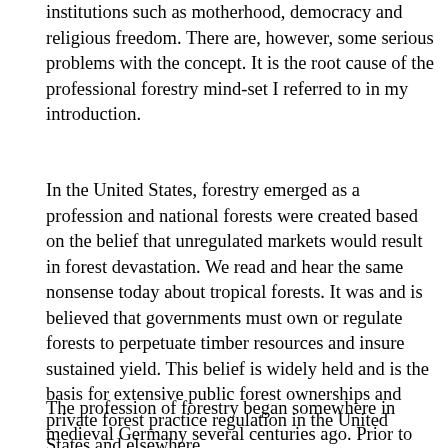has been elevated to the level of other unassailable institutions such as motherhood, democracy and religious freedom. There are, however, some serious problems with the concept. It is the root cause of the professional forestry mind-set I referred to in my introduction.
In the United States, forestry emerged as a profession and national forests were created based on the belief that unregulated markets would result in forest devastation. We read and hear the same nonsense today about tropical forests. It was and is believed that governments must own or regulate forests to perpetuate timber resources and insure sustained yield. This belief is widely held and is the basis for extensive public forest ownerships and private forest practice regulation in the United States and elsewhere.
The profession of forestry began somewhere in medieval Germany several centuries ago. Prior to the industrial